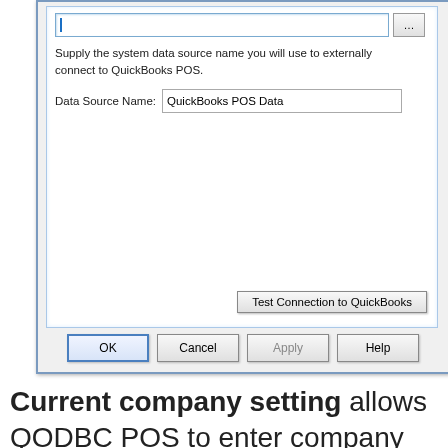[Figure (screenshot): Windows dialog box showing a QuickBooks POS data source configuration. Contains a text input field with browse button, instructional text 'Supply the system data source name you will use to externally connect to QuickBooks POS.', a Data Source Name field containing 'QuickBooks POS Data', a 'Test Connection to QuickBooks' button, and dialog buttons: OK, Cancel, Apply, Help.]
Current company setting allows QODBC POS to enter company file selection